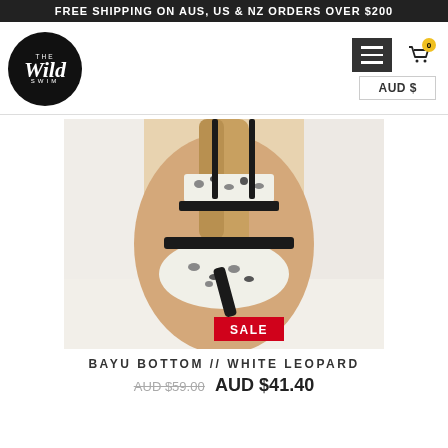FREE SHIPPING ON AUS, US & NZ ORDERS OVER $200
[Figure (logo): The Wild Swim circular logo — black circle with white script text]
[Figure (photo): Model wearing white leopard print bikini bottom and top, posed on white surface, back view. Red SALE tag overlay at bottom.]
BAYU BOTTOM // WHITE LEOPARD
AUD $59.00  AUD $41.40